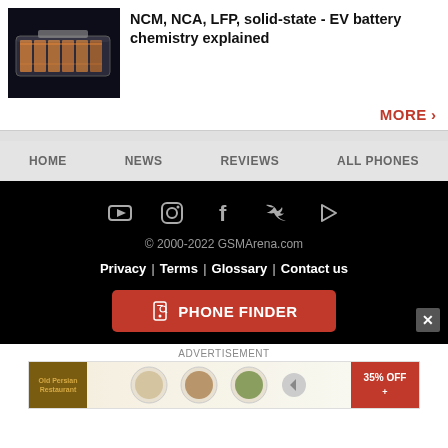[Figure (photo): EV battery pack cutaway/transparent view showing internal cell structure, orange and metallic colors on dark background]
NCM, NCA, LFP, solid-state - EV battery chemistry explained
MORE ›
HOME  NEWS  REVIEWS  ALL PHONES
[Figure (other): Social media icons: YouTube, Instagram, Facebook, Twitter, Play Store (on black background)]
© 2000-2022 GSMArena.com
Privacy | Terms | Glossary | Contact us
PHONE FINDER
ADVERTISEMENT
[Figure (photo): Advertisement banner with food/restaurant imagery and 35% OFF promotional offer]